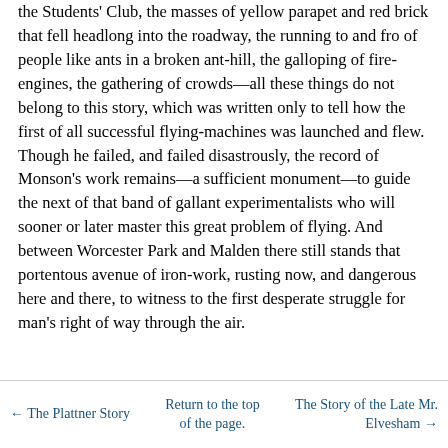the Students' Club, the masses of yellow parapet and red brick that fell headlong into the roadway, the running to and fro of people like ants in a broken ant-hill, the galloping of fire-engines, the gathering of crowds—all these things do not belong to this story, which was written only to tell how the first of all successful flying-machines was launched and flew. Though he failed, and failed disastrously, the record of Monson's work remains—a sufficient monument—to guide the next of that band of gallant experimentalists who will sooner or later master this great problem of flying. And between Worcester Park and Malden there still stands that portentous avenue of iron-work, rusting now, and dangerous here and there, to witness to the first desperate struggle for man's right of way through the air.
← The Plattner Story   Return to the top of the page.   The Story of the Late Mr. Elvesham →